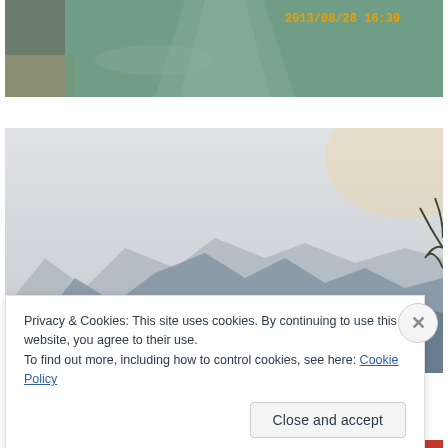[Figure (photo): Top photo showing a river or lake with green water, a pathway or shore on the left, and a timestamp overlay reading '2013/08/28 16:39' in orange text on the upper right corner.]
[Figure (photo): Bottom photo showing a misty mountainous landscape with karst peaks in shades of blue-grey against a hazy sky with a warm glow in the upper right. A palm frond is visible at the far right.]
Privacy & Cookies: This site uses cookies. By continuing to use this website, you agree to their use.
To find out more, including how to control cookies, see here: Cookie Policy
Close and accept